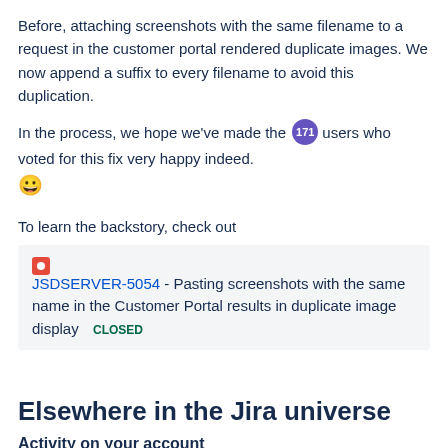Before, attaching screenshots with the same filename to a request in the customer portal rendered duplicate images. We now append a suffix to every filename to avoid this duplication.
In the process, we hope we've made the [171 badge] users who voted for this fix very happy indeed. 😀
To learn the backstory, check out
[Figure (screenshot): Jira issue card: red square icon, JSDSERVER-5054 link in blue - Pasting screenshots with the same name in the Customer Portal results in duplicate image display, CLOSED badge in green]
Elsewhere in the Jira universe
Activity on your account
To let you sleep better at night, we've added information about your recent login attempts to your user profile. You can now check when the